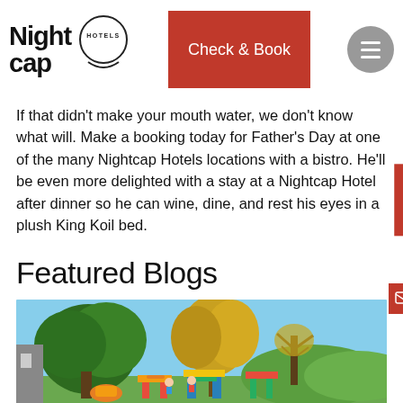Nightcap Hotels — Check & Book
If that didn't make your mouth water, we don't know what will. Make a booking today for Father's Day at one of the many Nightcap Hotels locations with a bistro. He'll be even more delighted with a stay at a Nightcap Hotel after dinner so he can wine, dine, and rest his eyes in a plush King Koil bed.
Featured Blogs
[Figure (photo): Outdoor photo of a playground with colourful play equipment and trees (green and yellow autumn foliage) against a blue sky.]